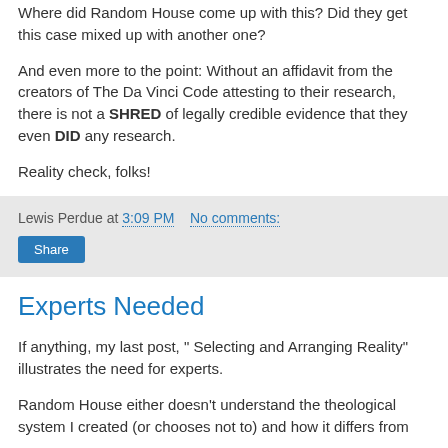Where did Random House come up with this? Did they get this case mixed up with another one?
And even more to the point: Without an affidavit from the creators of The Da Vinci Code attesting to their research, there is not a SHRED of legally credible evidence that they even DID any research.
Reality check, folks!
Lewis Perdue at 3:09 PM   No comments:
Share
Experts Needed
If anything, my last post, " Selecting and Arranging Reality" illustrates the need for experts.
Random House either doesn't understand the theological system I created (or chooses not to) and how it differs from